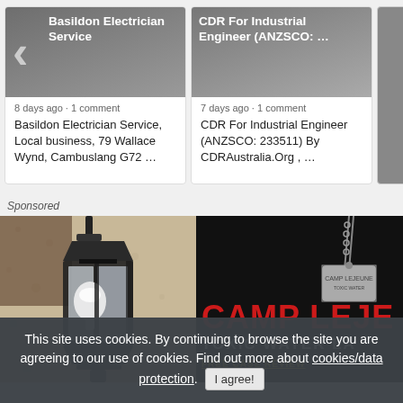[Figure (screenshot): Card with image: Basildon Electrician Service thumbnail with back arrow]
8 days ago · 1 comment
Basildon Electrician Service, Local business, 79 Wallace Wynd, Cambuslang G72 …
[Figure (screenshot): Card with image: CDR For Industrial Engineer (ANZSCO: ...) thumbnail]
7 days ago · 1 comment
CDR For Industrial Engineer (ANZSCO: 233511) By CDRAustralia.Org , …
Sponsored
[Figure (photo): Photo of a black outdoor wall lantern with a white LED bulb on a textured beige/tan wall]
[Figure (photo): Dark advertisement image with dog tag, red bold text CAMP LEJE, TOXIC WATER LA, FREE CASE REVIEW]
This site uses cookies. By continuing to browse the site you are agreeing to our use of cookies. Find out more about cookies/data protection. I agree!